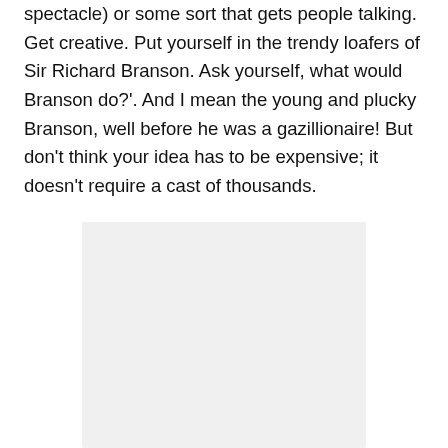spectacle) or some sort that gets people talking. Get creative. Put yourself in the trendy loafers of Sir Richard Branson. Ask yourself, what would Branson do?'. And I mean the young and plucky Branson, well before he was a gazillionaire! But don't think your idea has to be expensive; it doesn't require a cast of thousands.
[Figure (photo): A light grey rectangular placeholder image area]